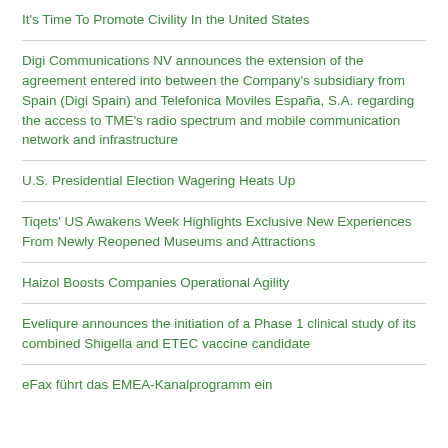It's Time To Promote Civility In the United States
Digi Communications NV announces the extension of the agreement entered into between the Company's subsidiary from Spain (Digi Spain) and Telefonica Moviles España, S.A. regarding the access to TME's radio spectrum and mobile communication network and infrastructure
U.S. Presidential Election Wagering Heats Up
Tiqets' US Awakens Week Highlights Exclusive New Experiences From Newly Reopened Museums and Attractions
Haizol Boosts Companies Operational Agility
Eveliqure announces the initiation of a Phase 1 clinical study of its combined Shigella and ETEC vaccine candidate
eFax führt das EMEA-Kanalprogramm ein